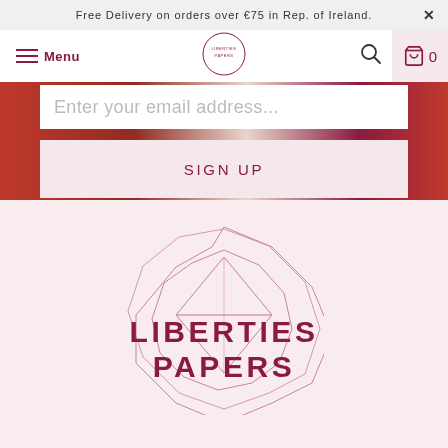Free Delivery on orders over €75 in Rep. of Ireland.
[Figure (screenshot): Navigation bar with Menu button, Liberties Papers logo, search icon, and cart icon showing 0 items]
Enter your email address...
SIGN UP
[Figure (logo): Liberties Papers geometric octagon logo with text LIBERTIES PAPERS below]